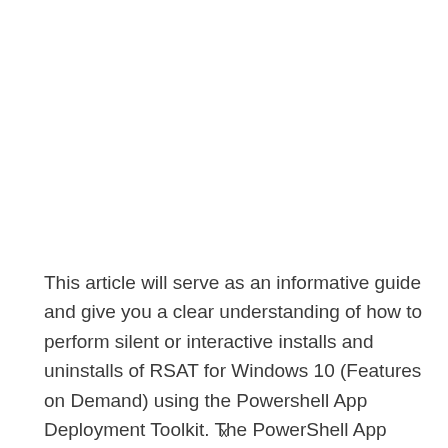This article will serve as an informative guide and give you a clear understanding of how to perform silent or interactive installs and uninstalls of RSAT for Windows 10 (Features on Demand) using the Powershell App Deployment Toolkit. The PowerShell App Deployment
x